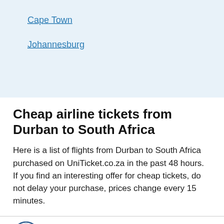Cape Town
Johannesburg
Cheap airline tickets from Durban to South Africa
Here is a list of flights from Durban to South Africa purchased on UniTicket.co.za in the past 48 hours. If you find an interesting offer for cheap tickets, do not delay your purchase, prices change every 15 minutes.
Durban - Cape Town MN 704 Comair Boeing 737-800